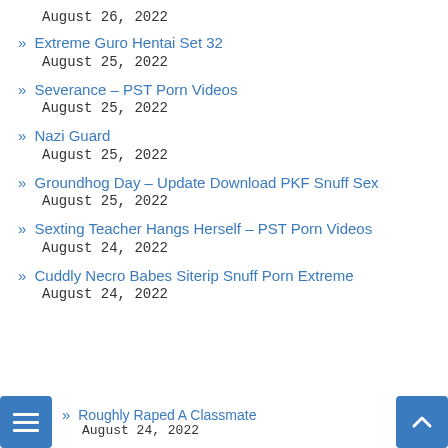August 26, 2022
» Extreme Guro Hentai Set 32
August 25, 2022
» Severance – PST Porn Videos
August 25, 2022
» Nazi Guard
August 25, 2022
» Groundhog Day – Update Download PKF Snuff Sex
August 25, 2022
» Sexting Teacher Hangs Herself – PST Porn Videos
August 24, 2022
» Cuddly Necro Babes Siterip Snuff Porn Extreme
August 24, 2022
» Roughly Raped A Classmate
August 24, 2022